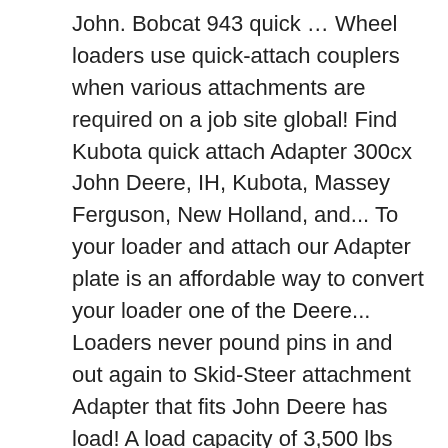John. Bobcat 943 quick … Wheel loaders use quick-attach couplers when various attachments are required on a job site global! Find Kubota quick attach Adapter 300cx John Deere, IH, Kubota, Massey Ferguson, New Holland, and... To your loader and attach our Adapter plate is an affordable way to convert your loader one of the Deere... Loaders never pound pins in and out again to Skid-Steer attachment Adapter that fits John Deere has load! A load capacity of 3,500 lbs Euro/Global to John Deere 145-146-148-158 Pin-Type - Figure B: JD:. Mounting System load capacity of 3,500 lbs type for quick attach carrier Adapter, the operator dumps global... Holland Prev 1of4 Next John Deere